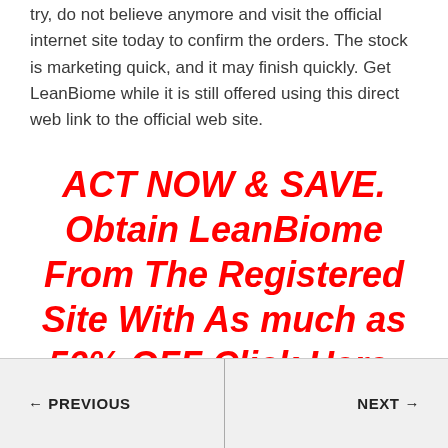try, do not believe anymore and visit the official internet site today to confirm the orders. The stock is marketing quick, and it may finish quickly. Get LeanBiome while it is still offered using this direct web link to the official web site.
ACT NOW & SAVE. Obtain LeanBiome From The Registered Site With As much as 50% OFF Click Here->
← PREVIOUS   NEXT →